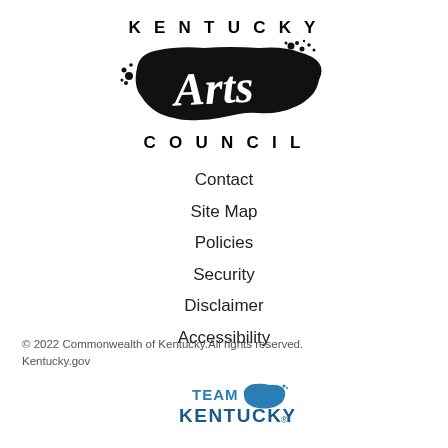[Figure (logo): Kentucky Arts Council logo with 'KENTUCKY' text above stylized 'Arts' script on a Kentucky state shape silhouette, and 'COUNCIL' below]
Contact
Site Map
Policies
Security
Disclaimer
Accessibility
© 2022 Commonwealth of Kentucky.All rights reserved.
Kentucky.gov
[Figure (logo): Team Kentucky logo in blue with Kentucky state outline]